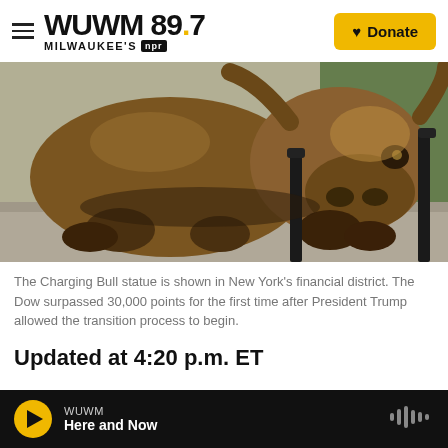WUWM 89.7 MILWAUKEE'S NPR — Donate
[Figure (photo): Close-up photograph of the Charging Bull bronze statue in New York's financial district, showing the bull's face and front legs.]
The Charging Bull statue is shown in New York's financial district. The Dow surpassed 30,000 points for the first time after President Trump allowed the transition process to begin.
Updated at 4:20 p.m. ET
WUWM — Here and Now